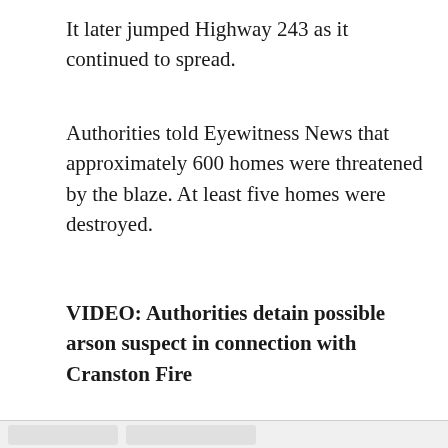It later jumped Highway 243 as it continued to spread.
Authorities told Eyewitness News that approximately 600 homes were threatened by the blaze. At least five homes were destroyed.
VIDEO: Authorities detain possible arson suspect in connection with Cranston Fire